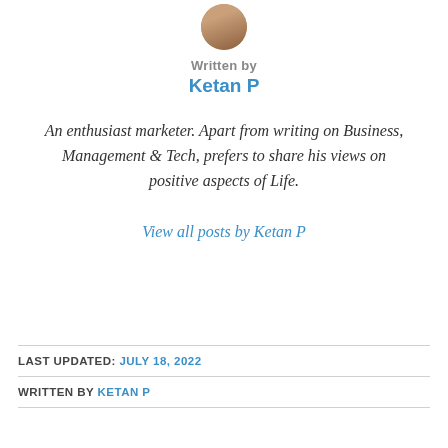[Figure (photo): Circular avatar photo of author Ketan P]
Written by
Ketan P
An enthusiast marketer. Apart from writing on Business, Management & Tech, prefers to share his views on positive aspects of Life.
View all posts by Ketan P
LAST UPDATED: JULY 18, 2022
WRITTEN BY KETAN P